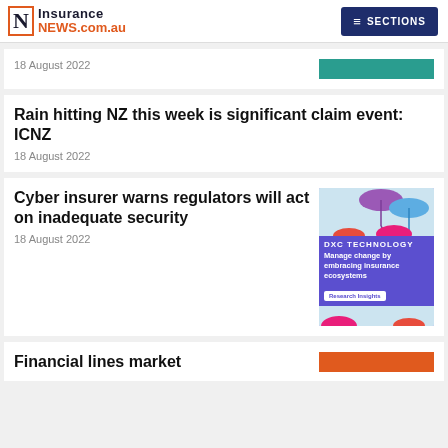Insurance NEWS.com.au | SECTIONS
18 August 2022
Rain hitting NZ this week is significant claim event: ICNZ
18 August 2022
Cyber insurer warns regulators will act on inadequate security
18 August 2022
[Figure (advertisement): DXC Technology advertisement: Manage change by embracing insurance ecosystems – Research Insights, featuring colourful umbrellas]
Financial lines market